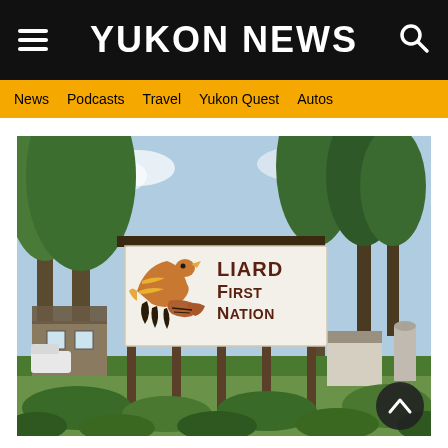YUKON NEWS
News  Podcasts  Travel  Yukon Quest  Autos
[Figure (photo): Photograph of the Liard First Nation sign, a large white billboard mounted on wooden posts showing the organization's name and logo (an eagle/thunderbird design), surrounded by tall trees and a rural road scene with buildings in the background.]